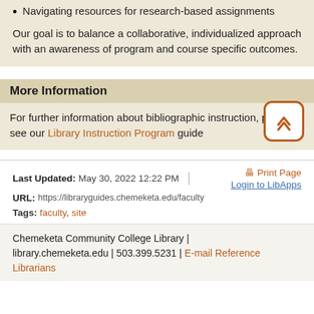Navigating resources for research-based assignments
Our goal is to balance a collaborative, individualized approach with an awareness of program and course specific outcomes.
More Information
For further information about bibliographic instruction, please see our Library Instruction Program guide
Last Updated: May 30, 2022 12:22 PM | URL: https://libraryguides.chemeketa.edu/faculty | Print Page | Login to LibApps | Tags: faculty, site
Chemeketa Community College Library | library.chemeketa.edu | 503.399.5231 | E-mail Reference Librarians